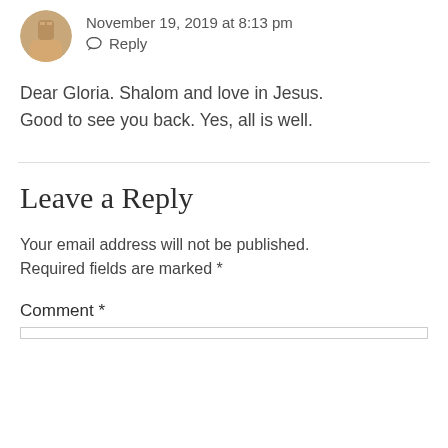November 19, 2019 at 8:13 pm
Reply
Dear Gloria. Shalom and love in Jesus. Good to see you back. Yes, all is well.
Leave a Reply
Your email address will not be published. Required fields are marked *
Comment *